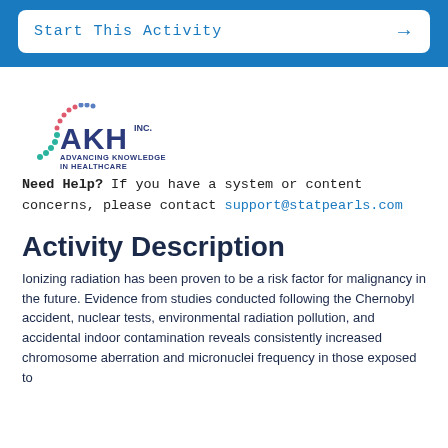Start This Activity →
[Figure (logo): AKH Inc. - Advancing Knowledge in Healthcare logo with colorful dot arc]
Need Help?  If you have a system or content concerns, please contact support@statpearls.com
Activity Description
Ionizing radiation has been proven to be a risk factor for malignancy in the future. Evidence from studies conducted following the Chernobyl accident, nuclear tests, environmental radiation pollution, and accidental indoor contamination reveals consistently increased chromosome aberration and micronuclei frequency in those exposed to